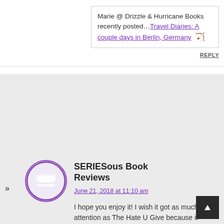Marie @ Drizzle & Hurricane Books recently posted…Travel Diaries: A couple days in Berlin, Germany 🏹
REPLY
SERIESous Book Reviews
June 21, 2018 at 11:10 am
I hope you enjoy it! I wish it got as much attention as The Hate U Give because it does touch on many of the same topics but with a different approach.
REPLY